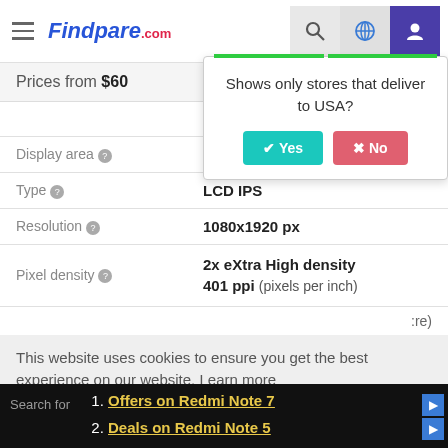Findpare.com
Shows only stores that deliver to USA?
Prices from $60
| Attribute | Value |
| --- | --- |
|  | 159.7 mm (r |
| Display area | 72 % |
| Type | LCD IPS |
| Resolution | 1080x1920 px |
| Pixel density | 2x eXtra High density 401 ppi (pixels per inch) |
|  | re) |
This website uses cookies to ensure you get the best experience on our website. Learn more
1. Offers on Redmi Note 7
2. Deals on Redmi Note 5